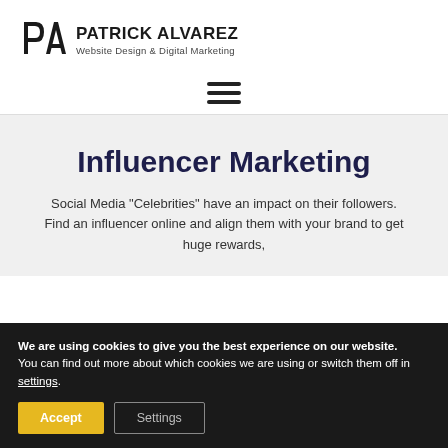PATRICK ALVAREZ — Website Design & Digital Marketing
[Figure (logo): PA logo icon — stylized letters P and A combined in black]
Influencer Marketing
Social Media "Celebrities" have an impact on their followers. Find an influencer online and align them with your brand to get huge rewards,
We are using cookies to give you the best experience on our website.
You can find out more about which cookies we are using or switch them off in settings.
Accept | Settings